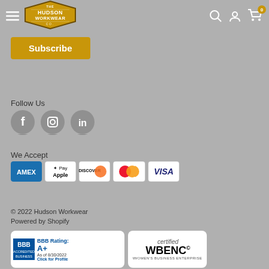[Figure (logo): Hudson Workwear logo in diamond/hexagon shape with gold/brown color]
[Figure (other): Subscribe button in gold/amber color]
Follow Us
[Figure (other): Social media icons: Facebook, Instagram, LinkedIn in gray circles]
We Accept
[Figure (other): Payment method icons: Amex, Apple Pay, Discover, Mastercard, Visa]
© 2022 Hudson Workwear
Powered by Shopify
[Figure (other): BBB Accredited Business badge - BBB Rating: A+ As of 8/30/2022, Click for Profile]
[Figure (other): Certified WBENC Women's Business Enterprise badge]